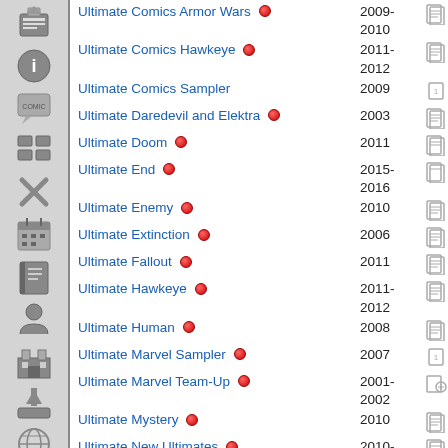Ultimate Comics Armor Wars 2009-2010
Ultimate Comics Hawkeye 2011-2012
Ultimate Comics Sampler 2009
Ultimate Daredevil and Elektra 2003
Ultimate Doom 2011
Ultimate End 2015-2016
Ultimate Enemy 2010
Ultimate Extinction 2006
Ultimate Fallout 2011
Ultimate Hawkeye 2011-2012
Ultimate Human 2008
Ultimate Marvel Sampler 2007
Ultimate Marvel Team-Up 2001-2002
Ultimate Mystery 2010
Ultimate New Ultimates 2010-2011
Ultimate Nightmare 2004-2005
Ultimate Origins 2008
Ultimate Power 2006-2008
Ultimate Prologue 2014